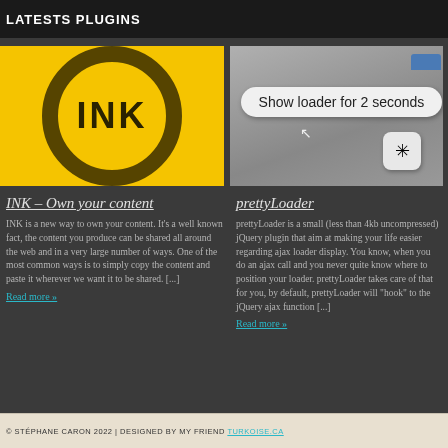LATESTS PLUGINS
[Figure (illustration): Yellow background with a hand-drawn black circle and bold text 'INK' in the center]
INK – Own your content
INK is a new way to own your content. It's a well known fact, the content you produce can be shared all around the web and in a very large number of ways. One of the most common ways is to simply copy the content and paste it wherever we want it to be shared. [...]
Read more »
[Figure (screenshot): Screenshot of a UI showing a pill-shaped button labeled 'Show loader for 2 seconds' on a grey background with a loader icon and a blue tab.]
prettyLoader
prettyLoader is a small (less than 4kb uncompressed) jQuery plugin that aim at making your life easier regarding ajax loader display. You know, when you do an ajax call and you never quite know where to position your loader. prettyLoader takes care of that for you, by default, prettyLoader will "hook" to the jQuery ajax function [...]
Read more »
© STÉPHANE CARON 2022 | DESIGNED BY MY FRIEND TURKOISE.CA